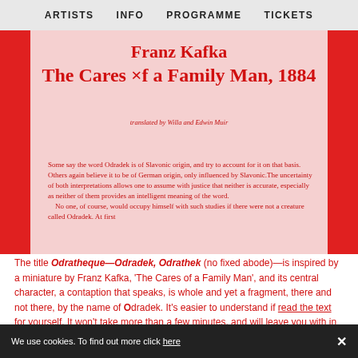ARTISTS   INFO   PROGRAMME   TICKETS
Franz Kafka
The Cares ×f a Family Man, 1884
translated by Willa and Edwin Muir
Some say the word Odradek is of Slavonic origin, and try to account for it on that basis. Others again believe it to be of German origin, only influenced by Slavonic. The uncertainty of both interpretations allows one to assume with justice that neither is accurate, especially as neither of them provides an intelligent meaning of the word.
    No one, of course, would occupy himself with such studies if there were not a creature called Odradek. At first
The title Odratheque—Odradek, Odrathek (no fixed abode)—is inspired by a miniature by Franz Kafka, ‘The Cares of a Family Man’, and its central character, a contaption that speaks, is whole and yet a fragment, there and not there, by the name of Odradek. It’s easier to understand if read the text for yourself. It won’t take more than a few minutes, and will leave you with in no
We use cookies. To find out more click here